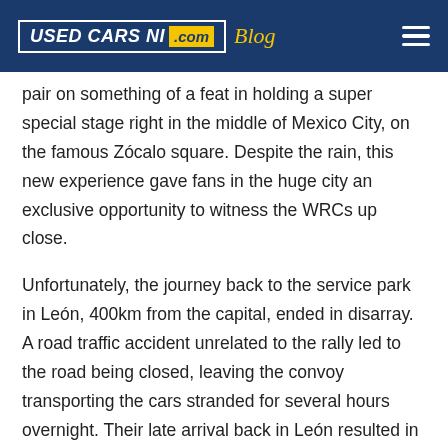USED CARS NI .com Blog
pair on something of a feat in holding a super special stage right in the middle of Mexico City, on the famous Zócalo square. Despite the rain, this new experience gave fans in the huge city an exclusive opportunity to witness the WRCs up close.
Unfortunately, the journey back to the service park in León, 400km from the capital, ended in disarray. A road traffic accident unrelated to the rally led to the road being closed, leaving the convoy transporting the cars stranded for several hours overnight. Their late arrival back in León resulted in the first two stages on Friday morning being cancelled.